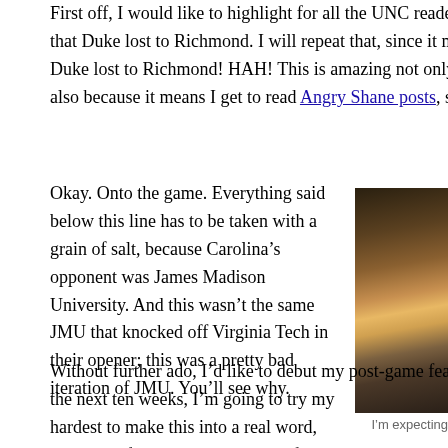First off, I would like to highlight for all the UNC readers out there that Duke lost to Richmond. I will repeat that, since it makes me slightly Duke lost to Richmond! HAH! This is amazing not only because Duke also because it means I get to read Angry Shane posts, something I have
Okay. Onto the game. Everything said below this line has to be taken with a grain of salt, because Carolina’s opponent was James Madison University. And this wasn’t the same JMU that knocked off Virginia Tech in their opener; this was a pretty bad iteration of JMU. You’ll see why.
[Figure (photo): A dark moody photo of a person, likely an action or sports related image with blurred city lights in the background.]
I’m expecting
Without further ado, I’d like to debut my post-game feature: Optipessimism. Over the next ten weeks, I’m going to try my hardest to make this into a real word, which I define as the tendency to follow any positive statement with an According to my mother, I might be the most effective optipessimist in